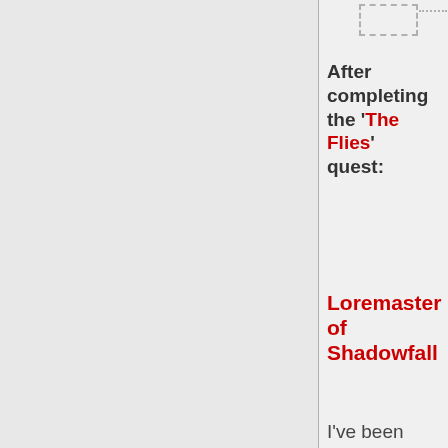After completing the 'The Flies' quest:
Loremaster of Shadowfall
I've been studying local urban legends. Supernatural slasher killers. And during one of my research sessions, I… well, I accidentally